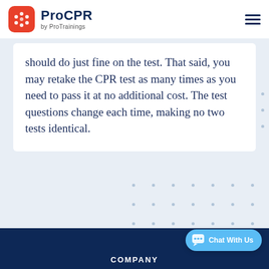ProCPR by ProTrainings
should do just fine on the test. That said, you may retake the CPR test as many times as you need to pass it at no additional cost. The test questions change each time, making no two tests identical.
COMPANY